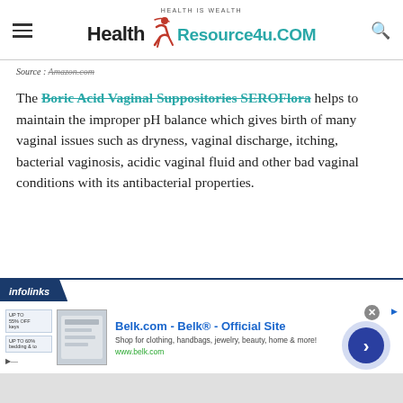Health Resource4u.COM — Health Is Wealth
Source : Amazon.com
The Boric Acid Vaginal Suppositories SEROFlora helps to maintain the improper pH balance which gives birth of many vaginal issues such as dryness, vaginal discharge, itching, bacterial vaginosis, acidic vaginal fluid and other bad vaginal conditions with its antibacterial properties.
[Figure (other): Infolinks advertisement banner for Belk.com showing Belk® - Official Site with text 'Shop for clothing, handbags, jewelry, beauty, home & more!' and www.belk.com URL]